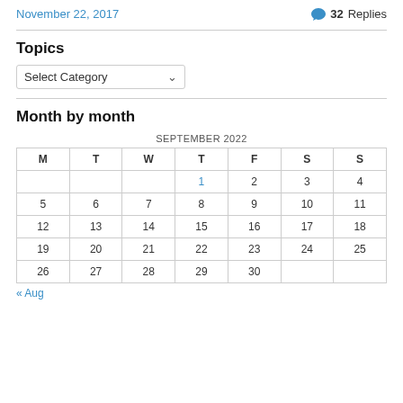November 22, 2017    32 Replies
Topics
Select Category
Month by month
| M | T | W | T | F | S | S |
| --- | --- | --- | --- | --- | --- | --- |
|  |  |  | 1 | 2 | 3 | 4 |
| 5 | 6 | 7 | 8 | 9 | 10 | 11 |
| 12 | 13 | 14 | 15 | 16 | 17 | 18 |
| 19 | 20 | 21 | 22 | 23 | 24 | 25 |
| 26 | 27 | 28 | 29 | 30 |  |  |
« Aug